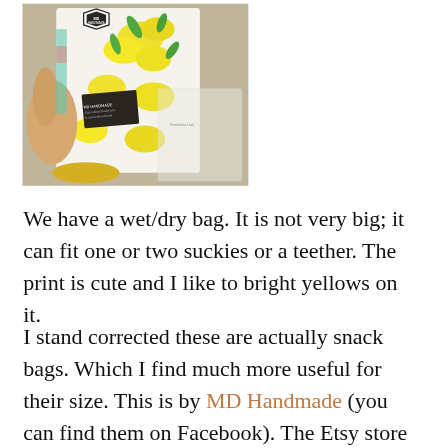[Figure (photo): A hand holding a small wet/dry bag or snack bag with a yellow lemon/floral print and a dark hexagonal MD Handmade logo label. A small business card is also visible. In the background is another clear plastic bag.]
We have a wet/dry bag. It is not very big; it can fit one or two suckies or a teether. The print is cute and I like to bright yellows on it.
I stand corrected these are actually snack bags. Which I find much more useful for their size. This is by MD Handmade (you can find them on Facebook). The Etsy store is set to a way and I